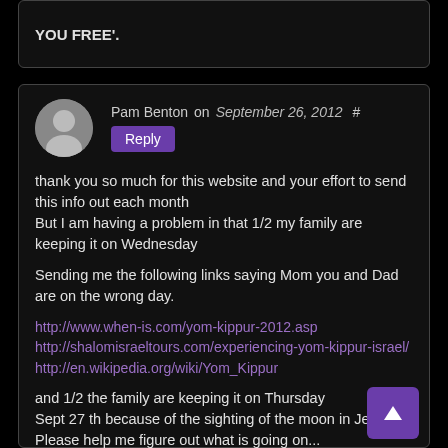YOU FREE'.
Pam Benton on September 26, 2012 #
thank you so much for this website and your effort to send this info out each month
But I am having a problem in that 1/2 my family are keeping it on Wednesday

Sending me the following links saying Mom you and Dad are on the wrong day.

http://www.when-is.com/yom-kippur-2012.asp
http://shalomisraeltours.com/experiencing-yom-kippur-israel/
http://en.wikipedia.org/wiki/Yom_Kippur

and 1/2 the family are keeping it on Thursday
Sept 27 th because of the sighting of the moon in Jerusa
Please help me figure out what is going on...
I am sure this is an easy one for you but it is very distressing